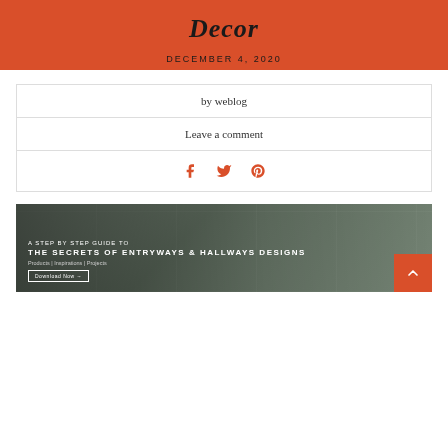Decor
DECEMBER 4, 2020
by weblog
Leave a comment
[Figure (infographic): Social share icons: Facebook, Twitter, Pinterest in orange/red color]
[Figure (illustration): Banner ad: A STEP BY STEP GUIDE TO THE SECRETS OF ENTRYWAYS & HALLWAYS DESIGNS. Products | Inspirations | Projects. Download Now button. Mosaic of entryway/hallway interior photos.]